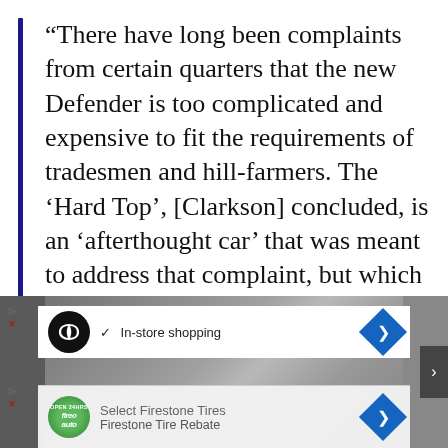“There have long been complaints from certain quarters that the new Defender is too complicated and expensive to fit the requirements of tradesmen and hill-farmers. The ‘Hard Top’, [Clarkson] concluded, is an ‘afterthought car’ that was meant to address that complaint, but which still doesn’t really fit the bill.”
[Figure (photo): Background photo of a building exterior partially visible, overlaid with two advertisement banners for automotive/tire services including an infinity-loop logo ad showing 'In-store shopping' and a Firestone Tires ad showing 'Select Firestone Tires' and 'Firestone Tire Rebate'.]